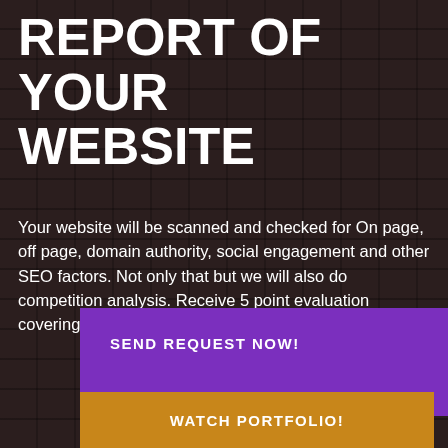REPORT OF YOUR WEBSITE
Your website will be scanned and checked for On page, off page, domain authority, social engagement and other SEO factors. Not only that but we will also do competition analysis. Receive 5 point evaluation covering 60 major aspects
[Figure (other): Purple call-to-action button with white bold text reading SEND REQUEST NOW!]
[Figure (other): Gold/orange call-to-action button with white bold text reading WATCH PORTFOLIO!]